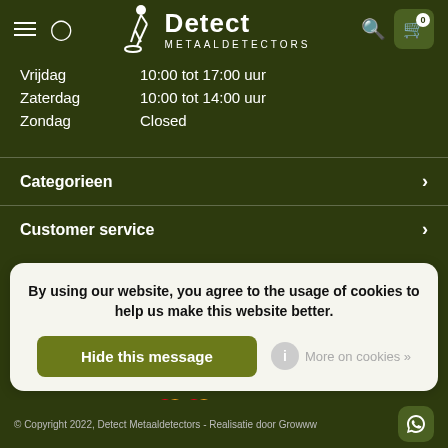[Figure (screenshot): Detect Metaaldetectors website header with hamburger menu, user icon, logo (person with metal detector), search icon, and cart button with 0 badge]
Vrijdag	10:00 tot 17:00 uur
Zaterdag	10:00 tot 14:00 uur
Zondag	Closed
Categorieen
Customer service
By using our website, you agree to the usage of cookies to help us make this website better.
Hide this message
More on cookies »
© Copyright 2022, Detect Metaaldetectors - Realisatie door Growww